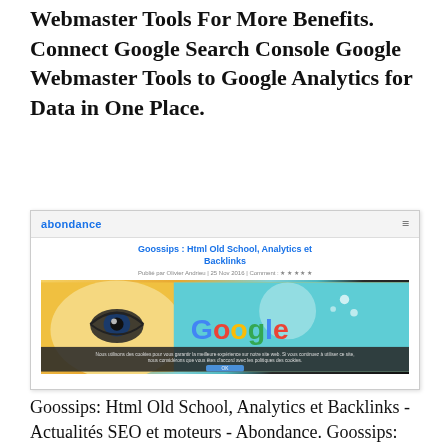Webmaster Tools For More Benefits. Connect Google Search Console Google Webmaster Tools to Google Analytics for Data in One Place.
[Figure (screenshot): Screenshot of the Abondance website showing a blog post titled 'Goossips : Html Old School, Analytics et Backlinks' with a featured image combining an illustrated eye/face graphic and Google logo colors, with a cookie consent overlay bar at the bottom.]
Goossips: Html Old School, Analytics et Backlinks - Actualités SEO et moteurs - Abondance. Goossips: Backlinks, Interstitiels et Action Manuelle. Quelques infos sur Google et Bing parfois et son moteur. Goossips: Accents, Featured Snippets, Redirections et Backlinks. Quelques infos sur Google et son moteur de